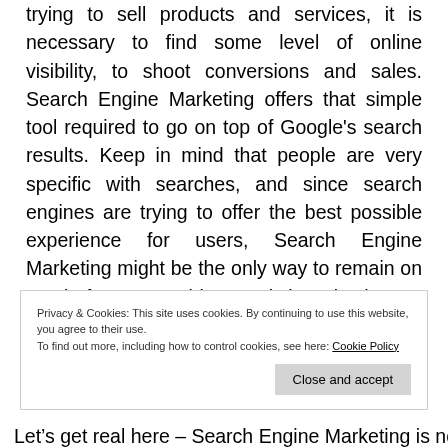trying to sell products and services, it is necessary to find some level of online visibility, to shoot conversions and sales. Search Engine Marketing offers that simple tool required to go on top of Google's search results. Keep in mind that people are very specific with searches, and since search engines are trying to offer the best possible experience for users, Search Engine Marketing might be the only way to remain on top, before SEO adds organic brand value.
Privacy & Cookies: This site uses cookies. By continuing to use this website, you agree to their use. To find out more, including how to control cookies, see here: Cookie Policy
Let's get real here – Search Engine Marketing is not